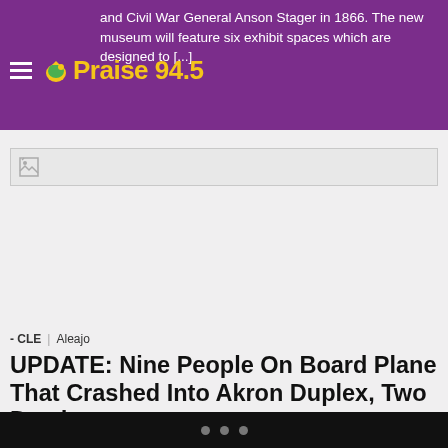and Civil War General Anson Stager in 1866. The new museum will feature six exhibit spaces which are designed to [...]
[Figure (logo): Praise 94.5 radio station logo with yellow bird icon and yellow text on purple background]
[Figure (photo): Broken/missing image placeholder for article photo]
- CLE | Aleajo
UPDATE: Nine People On Board Plane That Crashed Into Akron Duplex, Two Dead
AKRON, OH (WOIO) – Two people are confirmed dead,